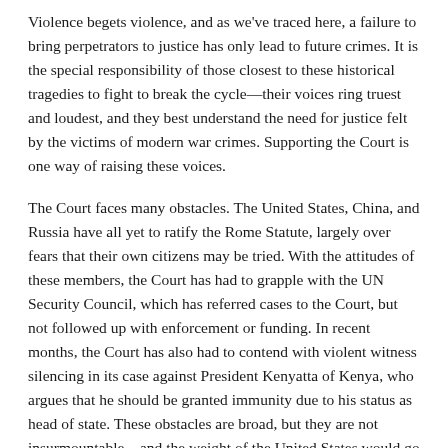Violence begets violence, and as we've traced here, a failure to bring perpetrators to justice has only lead to future crimes. It is the special responsibility of those closest to these historical tragedies to fight to break the cycle—their voices ring truest and loudest, and they best understand the need for justice felt by the victims of modern war crimes. Supporting the Court is one way of raising these voices.
The Court faces many obstacles. The United States, China, and Russia have all yet to ratify the Rome Statute, largely over fears that their own citizens may be tried. With the attitudes of these members, the Court has had to grapple with the UN Security Council, which has referred cases to the Court, but not followed up with enforcement or funding. In recent months, the Court has also had to contend with violent witness silencing in its case against President Kenyatta of Kenya, who argues that he should be granted immunity due to his status as head of state. These obstacles are broad, but they are not insurmountable—and the weight of the United States would go a long way towards solving them.